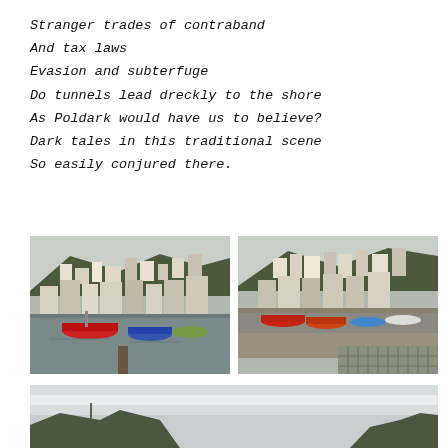Stranger trades of contraband
And tax laws
Evasion and subterfuge
Do tunnels lead dreckly to the shore
As Poldark would have us to believe?
Dark tales in this traditional scene
So easily conjured there.
[Figure (photo): Harbour view with fishing boats on water, colourful buildings on hillside, overcast sky]
[Figure (photo): Harbour at low tide with fishing boats on wet sand/mud, buildings on hillside, cobbled foreground]
[Figure (photo): Partial view of hillside and overcast sky, bottom portion of a wider harbour panorama]